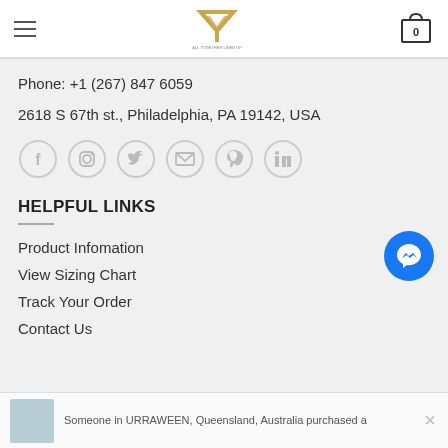Navigation header with hamburger menu, logo, and cart icon showing 0
Phone: +1 (267) 847 6059
2618 S 67th st., Philadelphia, PA 19142, USA
[Figure (infographic): Row of six social media icon circles: Facebook, Instagram, Twitter, Email, Pinterest, LinkedIn]
HELPFUL LINKS
Product Infomation
View Sizing Chart
Track Your Order
Contact Us
Someone in URRAWEEN, Queensland, Australia purchased a